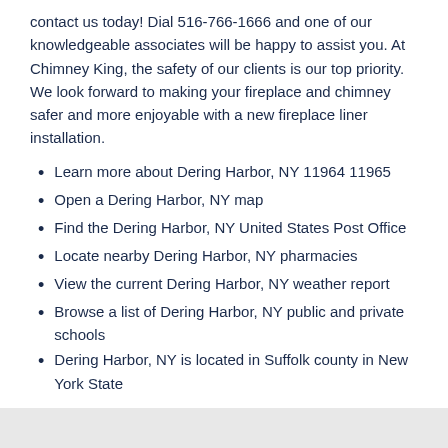contact us today! Dial 516-766-1666 and one of our knowledgeable associates will be happy to assist you. At Chimney King, the safety of our clients is our top priority. We look forward to making your fireplace and chimney safer and more enjoyable with a new fireplace liner installation.
Learn more about Dering Harbor, NY 11964 11965
Open a Dering Harbor, NY map
Find the Dering Harbor, NY United States Post Office
Locate nearby Dering Harbor, NY pharmacies
View the current Dering Harbor, NY weather report
Browse a list of Dering Harbor, NY public and private schools
Dering Harbor, NY is located in Suffolk county in New York State